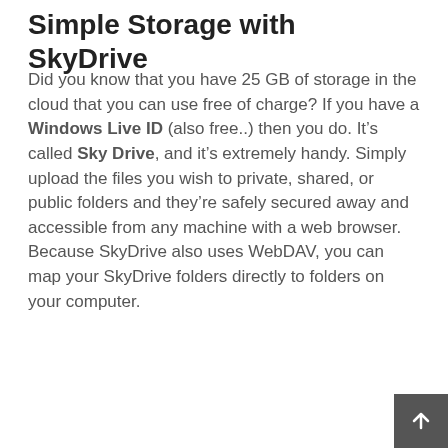Simple Storage with SkyDrive
Did you know that you have 25 GB of storage in the cloud that you can use free of charge? If you have a Windows Live ID (also free..) then you do. It’s called Sky Drive, and it’s extremely handy. Simply upload the files you wish to private, shared, or public folders and they’re safely secured away and accessible from any machine with a web browser. Because SkyDrive also uses WebDAV, you can map your SkyDrive folders directly to folders on your computer.